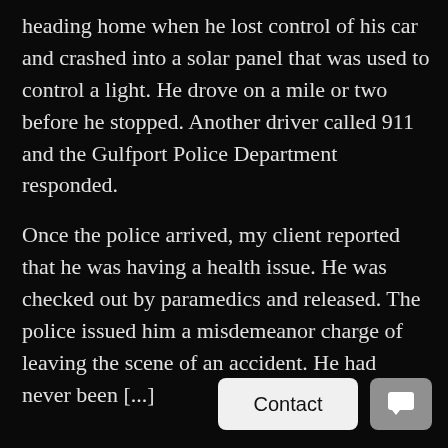heading home when he lost control of his car and crashed into a solar panel that was used to control a light. He drove on a mile or two before he stopped. Another driver called 911 and the Gulfport Police Department responded.
Once the police arrived, my client reported that he was having a health issue. He was checked out by paramedics and released. The police issued him a misdemeanor charge of leaving the scene of an accident. He had never been [...]